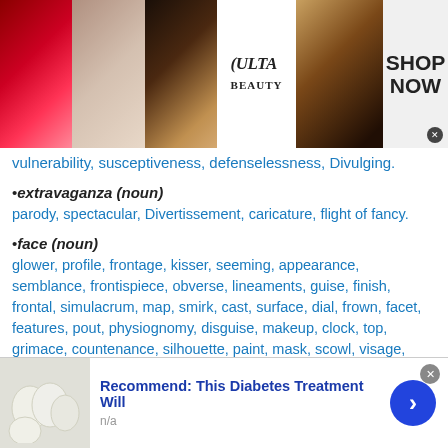[Figure (photo): Ulta Beauty advertisement banner with makeup images (lips, brush, eye), Ulta Beauty logo, eyes with dramatic makeup, and SHOP NOW text with close button]
vulnerability, susceptiveness, defenselessness, Divulging.
•extravaganza (noun)
parody, spectacular, Divertissement, caricature, flight of fancy.
•face (noun)
glower, profile, frontage, kisser, seeming, appearance, semblance, frontispiece, obverse, lineaments, guise, finish, frontal, simulacrum, map, smirk, cast, surface, dial, frown, facet, features, pout, physiognomy, disguise, makeup, clock, top, grimace, countenance, silhouette, paint, mask, scowl, visage, light, mug.
[Figure (photo): Bottom advertisement: Recommend: This Diabetes Treatment Will — image of white eggs/pills on left, blue arrow button on right. n/a subtext.]